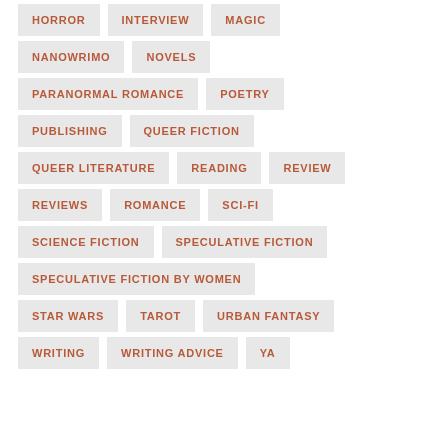HORROR
INTERVIEW
MAGIC
NANOWRIMO
NOVELS
PARANORMAL ROMANCE
POETRY
PUBLISHING
QUEER FICTION
QUEER LITERATURE
READING
REVIEW
REVIEWS
ROMANCE
SCI-FI
SCIENCE FICTION
SPECULATIVE FICTION
SPECULATIVE FICTION BY WOMEN
STAR WARS
TAROT
URBAN FANTASY
WRITING
WRITING ADVICE
YA